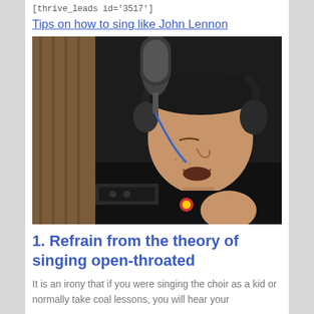[thrive_leads id='3517']
Tips on how to sing like John Lennon
[Figure (photo): Man wearing headphones singing into a studio microphone, wearing a black hoodie, in a recording studio environment]
1. Refrain from the theory of singing open-throated
It is an irony that if you were singing the choir as a kid or normally take coal lessons, you will hear your